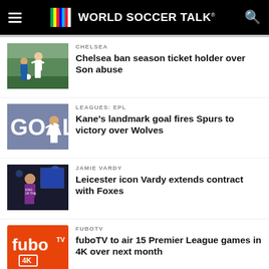World Soccer Talk
[Figure (photo): Soccer player kicking ball on pitch]
CHELSEA
Chelsea ban season ticket holder over Son abuse
[Figure (photo): Player celebrating in front of GOAL banner]
LEAGUES: EPL
Kane's landmark goal fires Spurs to victory over Wolves
[Figure (photo): Player in purple jersey under stadium lights]
JAMIE VARDY
Leicester icon Vardy extends contract with Foxes
[Figure (logo): fuboTV 4K logo on orange background]
FUBOTV
fuboTV to air 15 Premier League games in 4K over next month